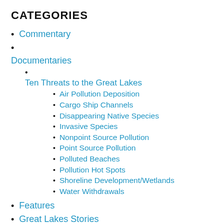CATEGORIES
Commentary
Documentaries
Ten Threats to the Great Lakes
Air Pollution Deposition
Cargo Ship Channels
Disappearing Native Species
Invasive Species
Nonpoint Source Pollution
Point Source Pollution
Polluted Beaches
Pollution Hot Spots
Shoreline Development/Wetlands
Water Withdrawals
Features
Great Lakes Stories